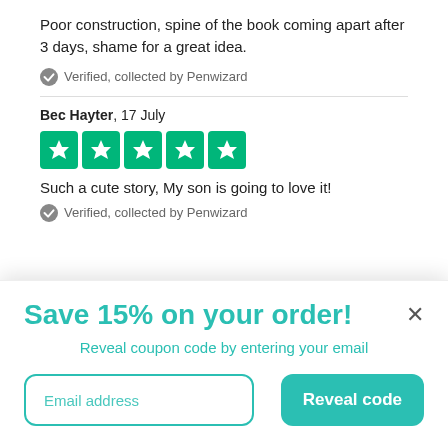Poor construction, spine of the book coming apart after 3 days, shame for a great idea.
✓ Verified, collected by Penwizard
Bec Hayter, 17 July
[Figure (other): 5 green Trustpilot star rating boxes]
Such a cute story, My son is going to love it!
✓ Verified, collected by Penwizard
Save 15% on your order!
Reveal coupon code by entering your email